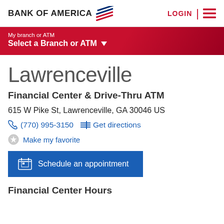BANK OF AMERICA | LOGIN
My branch or ATM
Select a Branch or ATM
Lawrenceville
Financial Center & Drive-Thru ATM
615 W Pike St, Lawrenceville, GA 30046 US
(770) 995-3150   Get directions
Make my favorite
Schedule an appointment
Financial Center Hours